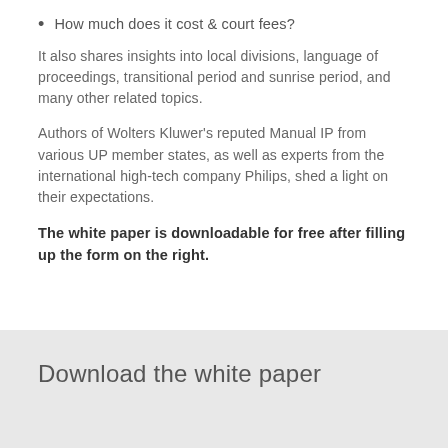How much does it cost & court fees?
It also shares insights into local divisions, language of proceedings, transitional period and sunrise period, and many other related topics.
Authors of Wolters Kluwer’s reputed Manual IP from various UP member states, as well as experts from the international high-tech company Philips, shed a light on their expectations.
The white paper is downloadable for free after filling up the form on the right.
Download the white paper